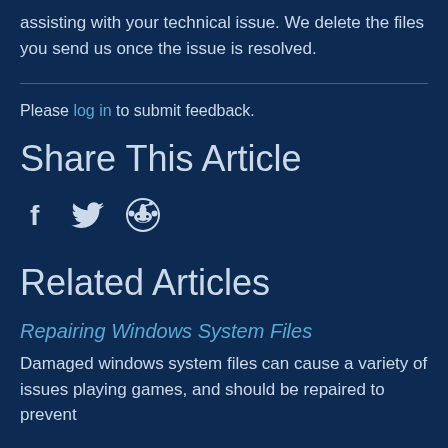assisting with your technical issue. We delete the files you send us once the issue is resolved.
Please log in to submit feedback.
Share This Article
[Figure (other): Social media share icons: Facebook (f), Twitter (bird), Reddit (alien face)]
Related Articles
Repairing Windows System Files
Damaged windows system files can cause a variety of issues playing games, and should be repaired to prevent